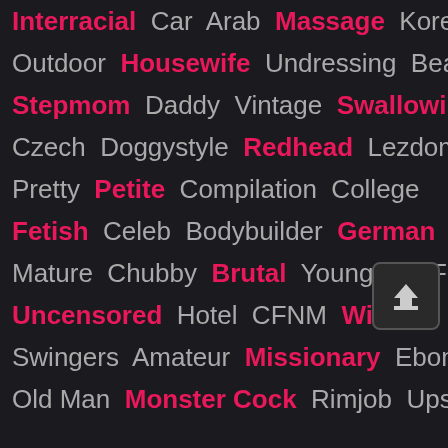Interracial Car Arab Massage Korean
Outdoor Housewife Undressing Beach
Stepmom Daddy Vintage Swallowing
Czech Doggystyle Redhead Lezdom
Pretty Petite Compilation College
Fetish Celeb Bodybuilder German
Mature Chubby Brutal Young MILF
Uncensored Hotel CFNM Wife
Swingers Amateur Missionary Ebony
Old Man Monster Cock Rimjob Upskirt